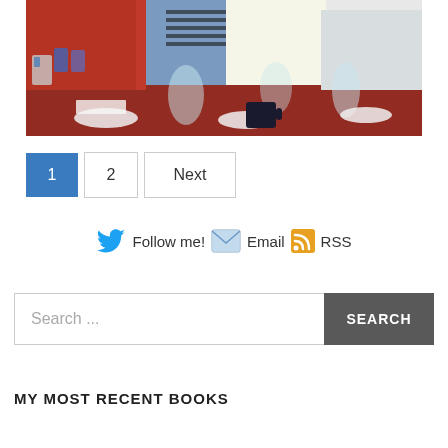[Figure (photo): Group of people sitting around a restaurant table with dishes, glasses, and a dark red table surface visible]
1  2  Next
Follow me! Email RSS
Search ...
SEARCH
MY MOST RECENT BOOKS